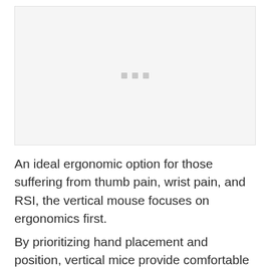[Figure (photo): Placeholder image area with three small gray squares centered, representing an image of a vertical mouse]
An ideal ergonomic option for those suffering from thumb pain, wrist pain, and RSI, the vertical mouse focuses on ergonomics first.
By prioritizing hand placement and position, vertical mice provide comfortable and healthy